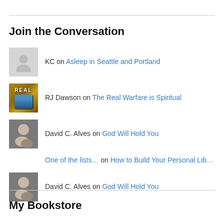Join the Conversation
KC on Asleep in Seattle and Portland
RJ Dawson on The Real Warfare is Spiritual
David C. Alves on God Will Hold You
One of the lists… on How to Build Your Personal Lib…
David C. Alves on God Will Hold You
My Bookstore